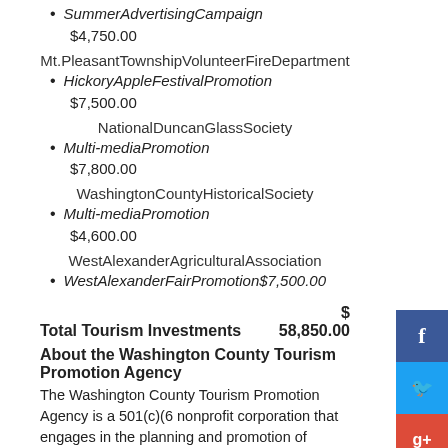SummerAdvertisingCampaign $4,750.00
Mt.PleasantTownshipVolunteerFireDepartment
HickoryAppleFestivalPromotion $7,500.00
NationalDuncanGlassSociety
Multi-mediaPromotion $7,800.00
WashingtonCountyHistoricalSociety
Multi-mediaPromotion $4,600.00
WestAlexanderAgriculturalAssociation
WestAlexanderFairPromotion $7,500.00
Total Tourism Investments $ 58,850.00
About the Washington County Tourism Promotion Agency
The Washington County Tourism Promotion Agency is a 501(c)(6 nonprofit corporation that engages in the planning and promotion of programs designed to stimulate and increase the volume of leisure and business travel into Washington County and to assist the promotional efforts of local entities that may bring visitors to Washington County. The Washington County Tourism Promotion